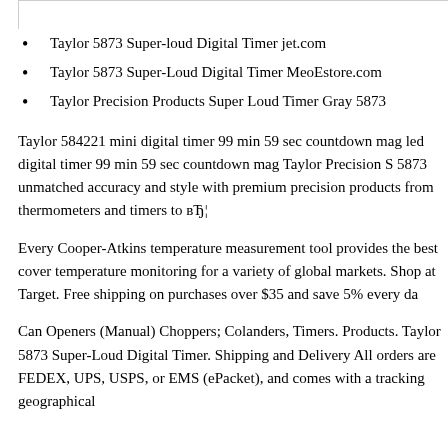Taylor 5873 Super-loud Digital Timer jet.com
Taylor 5873 Super-Loud Digital Timer MeoEstore.com
Taylor Precision Products Super Loud Timer Gray 5873
Taylor 584221 mini digital timer 99 min 59 sec countdown mag led digital timer 99 min 59 sec countdown mag Taylor Precision S 5873 unmatched accuracy and style with premium precision products from thermometers and timers to вЂ¦
Every Cooper-Atkins temperature measurement tool provides the best cover temperature monitoring for a variety of global markets. Shop at Target. Free shipping on purchases over $35 and save 5% every da
Can Openers (Manual) Choppers; Colanders, Timers. Products. Taylor 5873 Super-Loud Digital Timer. Shipping and Delivery All orders are FEDEX, UPS, USPS, or EMS (ePacket), and comes with a tracking geographical